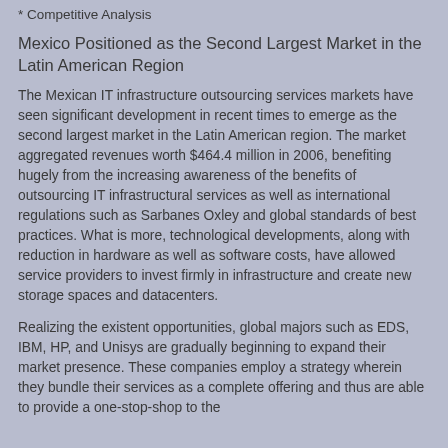* Competitive Analysis
Mexico Positioned as the Second Largest Market in the Latin American Region
The Mexican IT infrastructure outsourcing services markets have seen significant development in recent times to emerge as the second largest market in the Latin American region. The market aggregated revenues worth $464.4 million in 2006, benefiting hugely from the increasing awareness of the benefits of outsourcing IT infrastructural services as well as international regulations such as Sarbanes Oxley and global standards of best practices. What is more, technological developments, along with reduction in hardware as well as software costs, have allowed service providers to invest firmly in infrastructure and create new storage spaces and datacenters.
Realizing the existent opportunities, global majors such as EDS, IBM, HP, and Unisys are gradually beginning to expand their market presence. These companies employ a strategy wherein they bundle their services as a complete offering and thus are able to provide a one-stop-shop to the